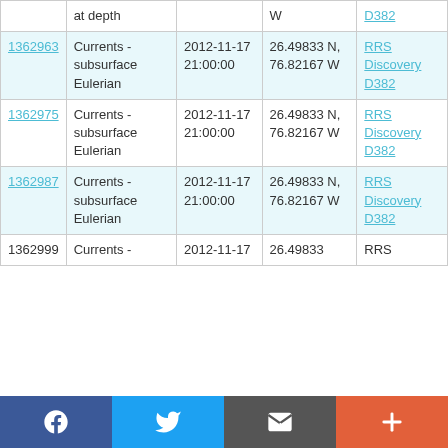| ID | Type | Date/Time | Location | Vessel |
| --- | --- | --- | --- | --- |
| (partial top row) | at depth |  | W | D382 |
| 1362963 | Currents - subsurface Eulerian | 2012-11-17 21:00:00 | 26.49833 N, 76.82167 W | RRS Discovery D382 |
| 1362975 | Currents - subsurface Eulerian | 2012-11-17 21:00:00 | 26.49833 N, 76.82167 W | RRS Discovery D382 |
| 1362987 | Currents - subsurface Eulerian | 2012-11-17 21:00:00 | 26.49833 N, 76.82167 W | RRS Discovery D382 |
| 1362999 | Currents - | 2012-11-17 | 26.49833 | RRS |